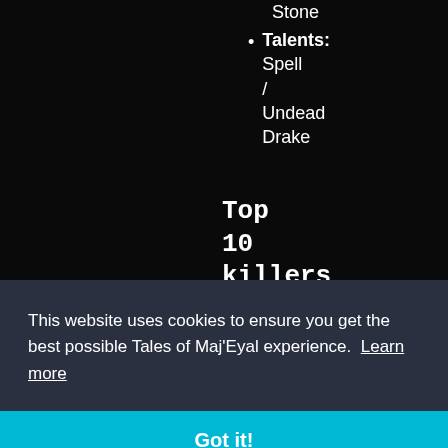Stone
Talents: Spell / Undead Drake
Top 10 killers
[Figure (screenshot): Dark game screenshot with small red dot element]
This website uses cookies to ensure you get the best possible Tales of Maj'Eyal experience.  Learn more
Got it!